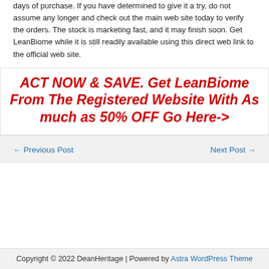days of purchase. If you have determined to give it a try, do not assume any longer and check out the main web site today to verify the orders. The stock is marketing fast, and it may finish soon. Get LeanBiome while it is still readily available using this direct web link to the official web site.
ACT NOW & SAVE. Get LeanBiome From The Registered Website With As much as 50% OFF Go Here->
← Previous Post
Next Post →
Copyright © 2022 DeanHeritage | Powered by Astra WordPress Theme